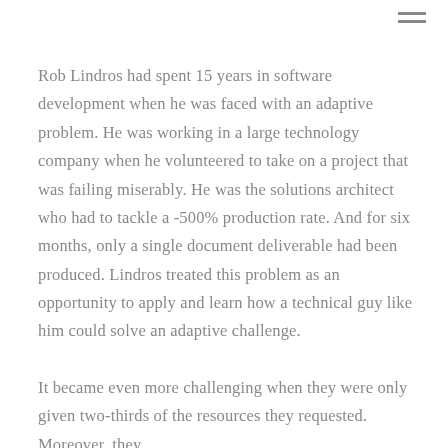Rob Lindros had spent 15 years in software development when he was faced with an adaptive problem. He was working in a large technology company when he volunteered to take on a project that was failing miserably. He was the solutions architect who had to tackle a -500% production rate. And for six months, only a single document deliverable had been produced. Lindros treated this problem as an opportunity to apply and learn how a technical guy like him could solve an adaptive challenge.
It became even more challenging when they were only given two-thirds of the resources they requested. Moreover, they